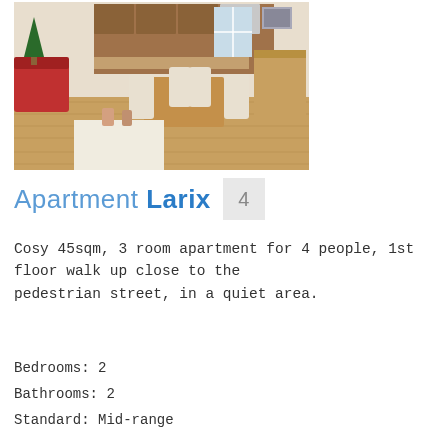[Figure (photo): Interior photo of an apartment showing a kitchen and dining area with wooden furniture, modern white chairs, hardwood floors, and a red sofa with Christmas tree visible on the left]
Apartment Larix 4
Cosy 45sqm, 3 room apartment for 4 people, 1st floor walk up close to the pedestrian street, in a quiet area.
LIVE AVAILABILITY
Bedrooms: 2
Bathrooms: 2
Standard: Mid-range